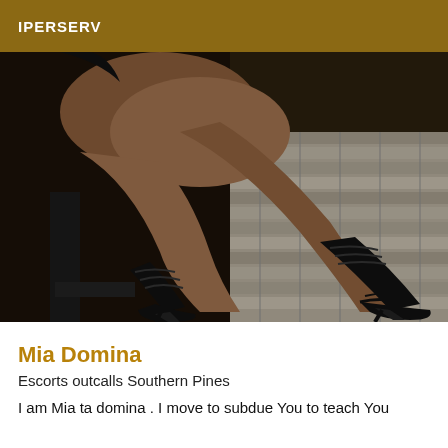IPERSERV
[Figure (photo): Close-up photo of a person's legs wearing black strappy high-heeled shoes and black striped socks, seated on a metal chair against a brick floor background.]
Mia Domina
Escorts outcalls Southern Pines
I am Mia ta domina . I move to subdue You to teach You